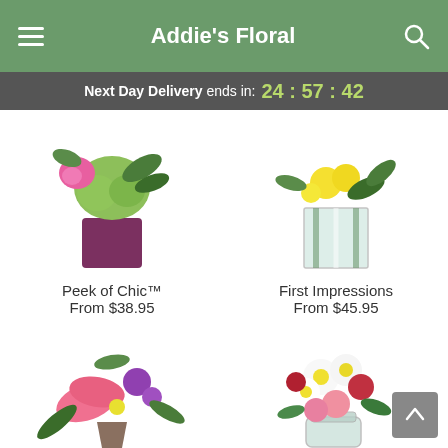Addie's Floral
Next Day Delivery ends in: 24:57:42
[Figure (photo): Floral arrangement Peek of Chic in a purple square vase with pink roses and green hydrangeas]
Peek of Chic™
From $38.95
[Figure (photo): Floral arrangement First Impressions in a clear square vase with yellow flowers and tropical leaves]
First Impressions
From $45.95
[Figure (photo): Large floral arrangement with pink stargazer lilies, purple flowers, and greenery]
[Figure (photo): Floral arrangement with white daisies, pink carnations, and red roses in a clear vase]